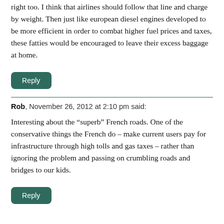right too. I think that airlines should follow that line and charge by weight. Then just like european diesel engines developed to be more efficient in order to combat higher fuel prices and taxes, these fatties would be encouraged to leave their excess baggage at home.
Reply
Rob, November 26, 2012 at 2:10 pm said:
Interesting about the “superb” French roads. One of the conservative things the French do – make current users pay for infrastructure through high tolls and gas taxes – rather than ignoring the problem and passing on crumbling roads and bridges to our kids.
Reply